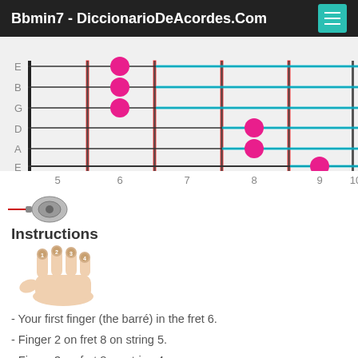Bbmin7 - DiccionarioDeAcordes.Com
[Figure (other): Guitar fretboard diagram showing Bbmin7 chord fingering. Strings labeled E B G D A E from top to bottom. Fret numbers 5, 6, 7, 8, 9, 10 shown along bottom. Pink dots mark finger positions: fret 6 on E and B and G strings (barré), fret 8 on D and A strings, fret 9 on low E string. Cyan horizontal lines highlight certain strings.]
Instructions
[Figure (illustration): Hand illustration showing four fingers numbered 1, 2, 3, 4 indicating finger positions for the chord.]
- Your first finger (the barré) in the fret 6.
- Finger 2 on fret 8 on string 5.
- Finger 3 on fret 8 on string 4.
- Finger 4 on fret 9 on string 6.
There are more options. If you want, if you think th...